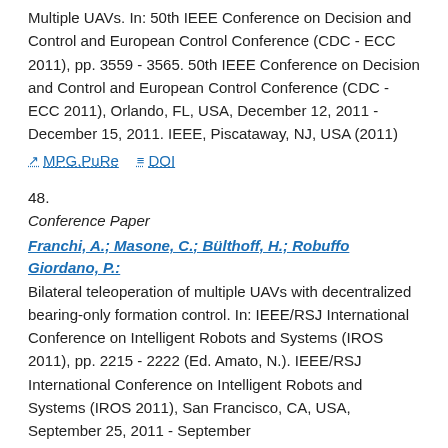Multiple UAVs. In: 50th IEEE Conference on Decision and Control and European Control Conference (CDC - ECC 2011), pp. 3559 - 3565. 50th IEEE Conference on Decision and Control and European Control Conference (CDC - ECC 2011), Orlando, FL, USA, December 12, 2011 - December 15, 2011. IEEE, Piscataway, NJ, USA (2011)
MPG.PuRe   DOI
48.
Conference Paper
Franchi, A.; Masone, C.; Bülthoff, H.; Robuffo Giordano, P.:
Bilateral teleoperation of multiple UAVs with decentralized bearing-only formation control. In: IEEE/RSJ International Conference on Intelligent Robots and Systems (IROS 2011), pp. 2215 - 2222 (Ed. Amato, N.). IEEE/RSJ International Conference on Intelligent Robots and Systems (IROS 2011), San Francisco, CA, USA, September 25, 2011 - September 30, 2011. IEEE, Piscataway, NJ, USA (2011)